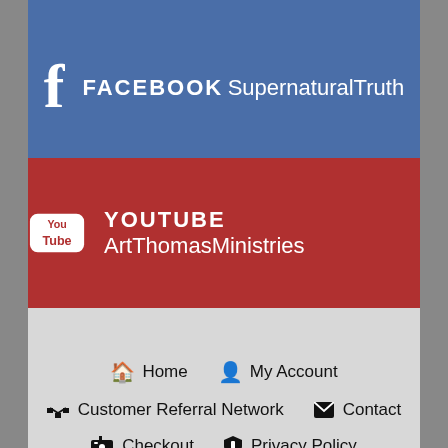[Figure (screenshot): Facebook social media link bar with Facebook logo icon, bold FACEBOOK label, and 'SupernaturalTruth' username on blue background]
[Figure (screenshot): YouTube social media link bar with YouTube logo icon, bold YOUTUBE label, and 'ArtThomasMinistries' username on red background]
Home
My Account
Customer Referral Network
Contact
Checkout
Privacy Policy
Terms and Conditions
© Copyright 2018, Supernatural Truth Productions, LLC.